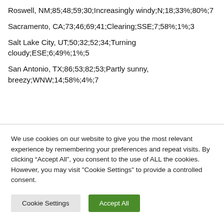Roswell, NM;85;48;59;30;Increasingly windy;N;18;33%;80%;7
Sacramento, CA;73;46;69;41;Clearing;SSE;7;58%;1%;3
Salt Lake City, UT;50;32;52;34;Turning cloudy;ESE;6;49%;1%;5
San Antonio, TX;86;53;82;53;Partly sunny, breezy;WNW;14;58%;4%;7
We use cookies on our website to give you the most relevant experience by remembering your preferences and repeat visits. By clicking “Accept All”, you consent to the use of ALL the cookies. However, you may visit "Cookie Settings" to provide a controlled consent.
Cookie Settings
Accept All